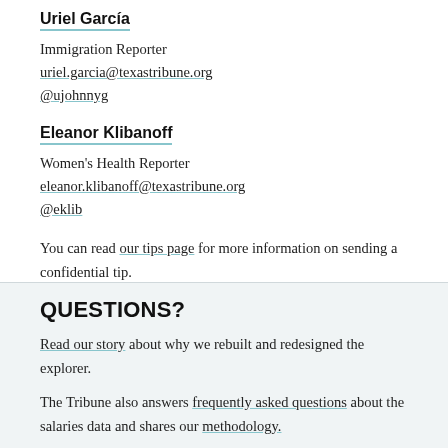Uriel García
Immigration Reporter
uriel.garcia@texastribune.org
@ujohnnyg
Eleanor Klibanoff
Women's Health Reporter
eleanor.klibanoff@texastribune.org
@eklib
You can read our tips page for more information on sending a confidential tip.
QUESTIONS?
Read our story about why we rebuilt and redesigned the explorer.
The Tribune also answers frequently asked questions about the salaries data and shares our methodology.